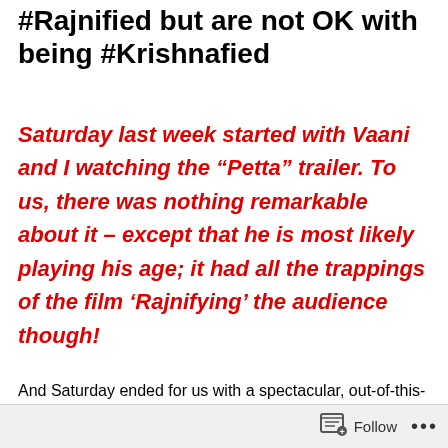#Rajnified but are not OK with being #Krishnafied
Saturday last week started with Vaani and I watching the “Petta” trailer. To us, there was nothing remarkable about it – except that he is most likely playing his age; it had all the trappings of the film ‘Rajnifying’ the audience though!
And Saturday ended for us with a spectacular, out-of-this-
Follow